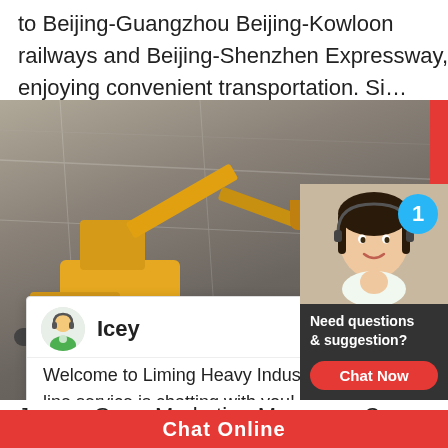to Beijing-Guangzhou Beijing-Kowloon railways and Beijing-Shenzhen Expressway, enjoying convenient transportation. Si…
[Figure (photo): Construction site with yellow excavators working on rocky terrain, overlaid with a live chat popup from Liming Heavy Industry with agent named Icey]
Jaycee Guo - Marketing Manager - C
Chat Online